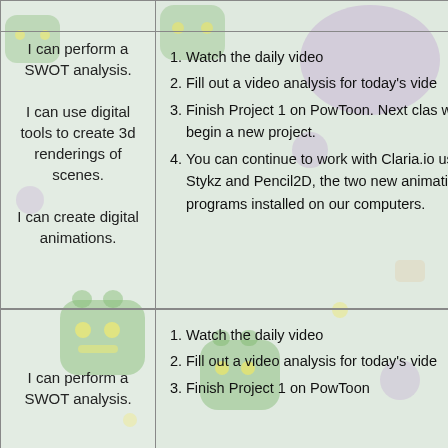| I can perform a SWOT analysis.

I can use digital tools to create 3d renderings of scenes.

I can create digital animations. | 1. Watch the daily video
2. Fill out a video analysis for today's vide
3. Finish Project 1 on PowToon. Next clas will begin a new project.
4. You can continue to work with Claria.io use Stykz and Pencil2D, the two new animation programs installed on our computers. |
| I can perform a SWOT analysis. | 1. Watch the daily video
2. Fill out a video analysis for today's vide
3. Finish Project 1 on PowToon |